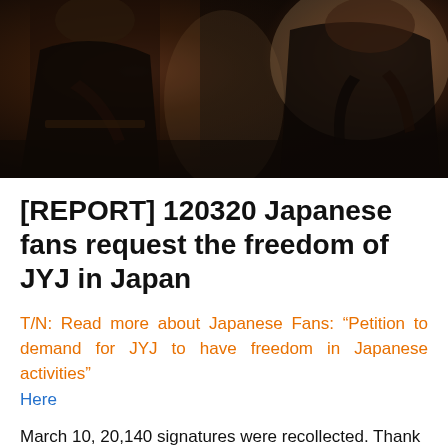[Figure (photo): Black and white/sepia-toned photograph of people in dark suits, cropped at waist/torso level]
[REPORT] 120320 Japanese fans request the freedom of JYJ in Japan
T/N: Read more about Japanese Fans: “Petition to demand for JYJ to have freedom in Japanese activities” Here
March 10, 20,140 signatures were recollected. Thank you to everyone for your active cooperation.